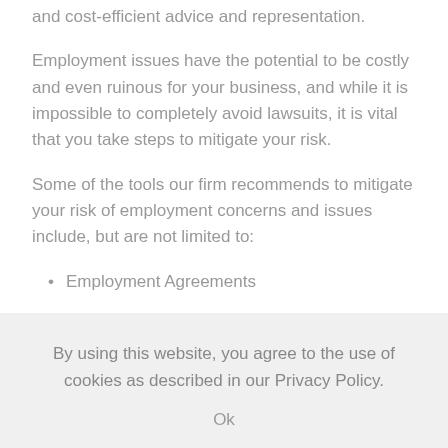and cost-efficient advice and representation.
Employment issues have the potential to be costly and even ruinous for your business, and while it is impossible to completely avoid lawsuits, it is vital that you take steps to mitigate your risk.
Some of the tools our firm recommends to mitigate your risk of employment concerns and issues include, but are not limited to:
Employment Agreements
By using this website, you agree to the use of cookies as described in our Privacy Policy.
Ok